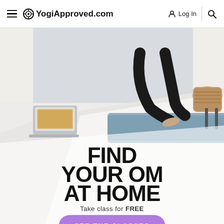YogiApproved.com  Log In
[Figure (photo): Person in yoga/lunge pose on a blue yoga mat with a laptop nearby, shot in a bright room. Text overlay reads: FIND YOUR OM AT HOME / Take class for FREE / SEE THE CLASSES button in purple.]